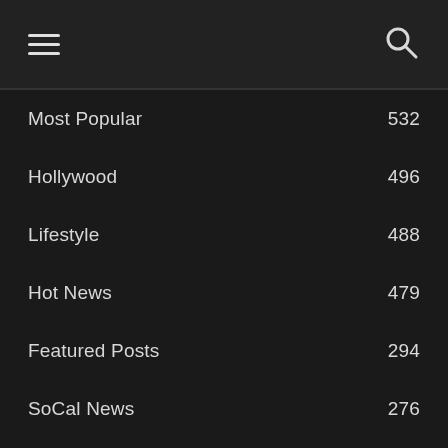Navigation menu with hamburger and search icons
Most Popular 532
Hollywood 496
Lifestyle 488
Hot News 479
Featured Posts 294
SoCal News 276
Food & Drink 275